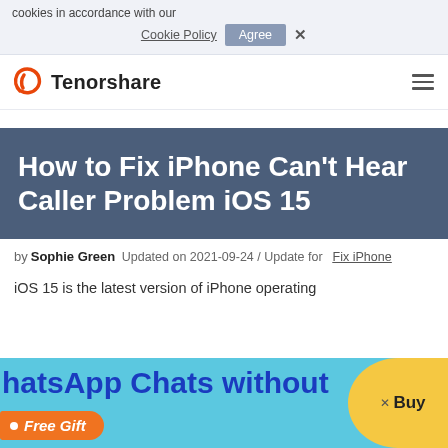cookies in accordance with our
Cookie Policy   Agree   ×
Tenorshare
How to Fix iPhone Can't Hear Caller Problem iOS 15
by Sophie Green   Updated on 2021-09-24 / Update for   Fix iPhone
iOS 15 is the latest version of iPhone operating
hatsApp Chats without   × Buy
• Free Gift